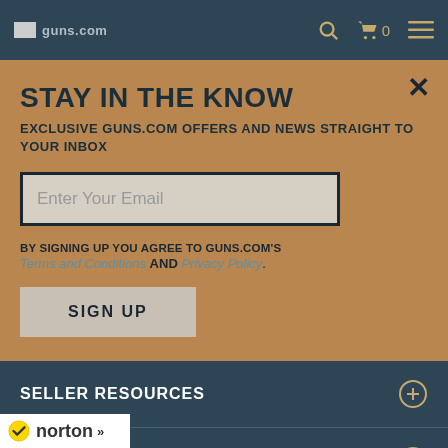guns.com — navigation bar with search, cart (0), and menu icons
STAY IN THE KNOW
EXCLUSIVE GUNS.COM OFFERS AND NEWS STRAIGHT TO YOUR INBOX
Enter Your Email
BY SIGNING UP YOU AGREE TO GUNS.COM'S Terms and Conditions AND Privacy Policy.
SIGN UP
SELLER RESOURCES
WHO WE ARE
[Figure (logo): Norton security badge with checkmark logo and 'norton' text]